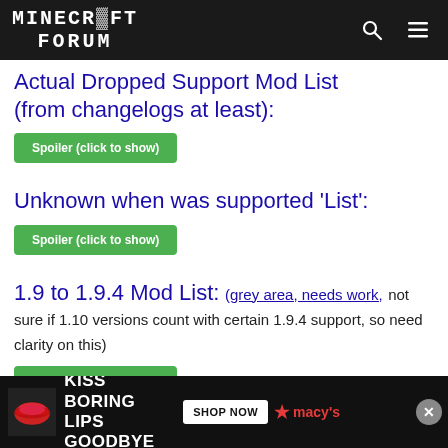MINECRAFT FORUM
Actual Dropped Support Mod List (from changelogs at least):
Spoiler (click to show)
Unknown when was supported 'List':
Spoiler (click to show)
1.9 to 1.9.4 Mod List: (grey area, needs work, not sure if 1.10 versions count with certain 1.9.4 support, so need clarity on this)
Spoiler (click to show)
1.10 to 1.10.2 Mod List:
Spoiler (click to show)
1.11
[Figure (other): Macy's advertisement banner: KISS BORING LIPS GOODBYE with SHOP NOW button and Macy's logo with close button]